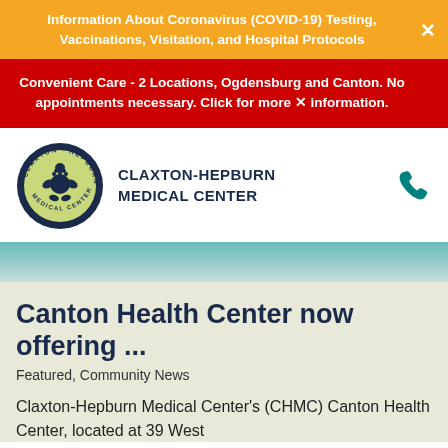Information About Coronavirus (COVID-19) Testing, Vaccinations, Visitation, and Hospital Protocols
Convenient Care - 2 Locations, Ogdensburg and Canton. No appointments necessary. Click for more information.
[Figure (logo): Claxton-Hepburn Medical Center circular logo with teal and gold plant/person emblem on dark navy background]
CLAXTON-HEPBURN MEDICAL CENTER
[Figure (photo): Partial photo strip showing a healthcare worker in teal scrubs]
Canton Health Center now offering ...
Featured, Community News
Claxton-Hepburn Medical Center's (CHMC) Canton Health Center, located at 39 West